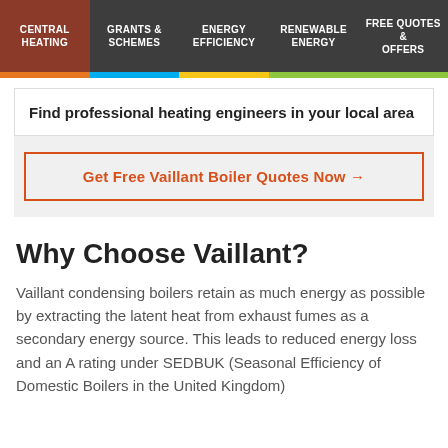CENTRAL HEATING | GRANTS & SCHEMES | ENERGY EFFICIENCY | RENEWABLE ENERGY | FREE QUOTES & OFFERS
Find professional heating engineers in your local area
Get Free Vaillant Boiler Quotes Now →
Why Choose Vaillant?
Vaillant condensing boilers retain as much energy as possible by extracting the latent heat from exhaust fumes as a secondary energy source. This leads to reduced energy loss and an A rating under SEDBUK (Seasonal Efficiency of Domestic Boilers in the United Kingdom)